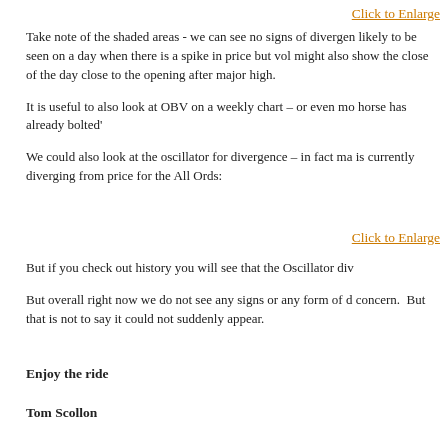Click to Enlarge
Take note of the shaded areas - we can see no signs of divergen likely to be seen on a day when there is a spike in price but vol might also show the close of the day close to the opening after major high.
It is useful to also look at OBV on a weekly chart – or even mo horse has already bolted'
We could also look at the oscillator for divergence – in fact ma is currently diverging from price for the All Ords:
Click to Enlarge
But if you check out history you will see that the Oscillator div
But overall right now we do not see any signs or any form of d concern.  But that is not to say it could not suddenly appear.
Enjoy the ride
Tom Scollon